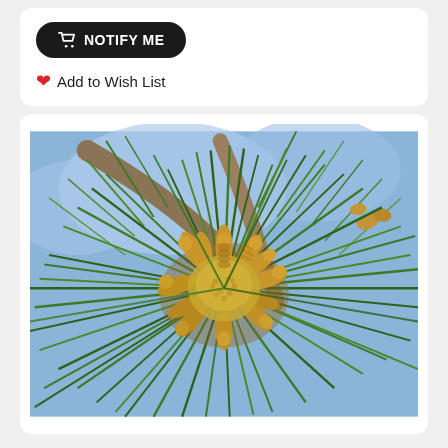NOTIFY ME
Add to Wish List
[Figure (photo): Close-up photograph of a pine tree branch showing green pine needles radiating outward from the center with multiple pine pollen cones (male strobili) clustered in the middle, yellowish-brown in color, with blurred blue sky and tree branches in the background.]